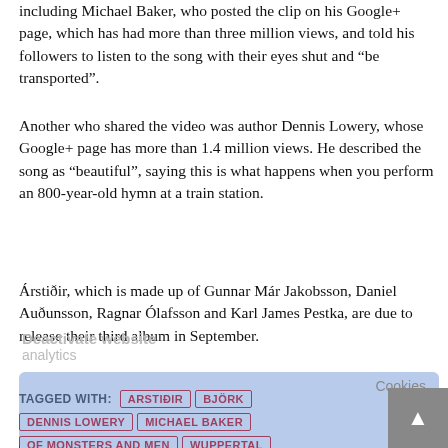including Michael Baker, who posted the clip on his Google+ page, which has had more than three million views, and told his followers to listen to the song with their eyes shut and “be transported”.
Another who shared the video was author Dennis Lowery, whose Google+ page has more than 1.4 million views. He described the song as “beautiful”, saying this is what happens when you perform an 800-year-old hymn at a train station.
Árstiðir, which is made up of Gunnar Már Jakobsson, Daniel Auðunsson, Ragnar Ólafsson and Karl James Pestka, are due to release their third album in September.
TAGGED WITH: ARSTIÐIR  BJÖRK  DENNIS LOWERY  MICHAEL BAKER  OF MONSTERS AND MEN  WUPPERTAL